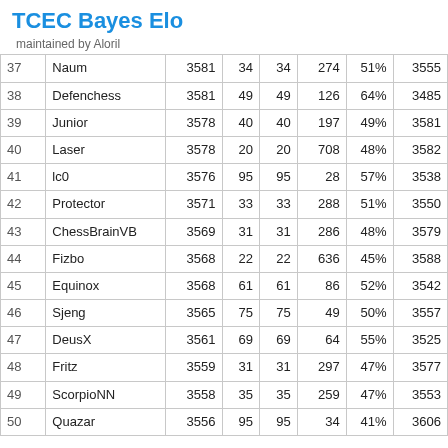TCEC Bayes Elo
maintained by Aloril
| # | Name | Elo |  |  |  | % |  |
| --- | --- | --- | --- | --- | --- | --- | --- |
| 37 | Naum | 3581 | 34 | 34 | 274 | 51% | 3555 |
| 38 | Defenchess | 3581 | 49 | 49 | 126 | 64% | 3485 |
| 39 | Junior | 3578 | 40 | 40 | 197 | 49% | 3581 |
| 40 | Laser | 3578 | 20 | 20 | 708 | 48% | 3582 |
| 41 | lc0 | 3576 | 95 | 95 | 28 | 57% | 3538 |
| 42 | Protector | 3571 | 33 | 33 | 288 | 51% | 3550 |
| 43 | ChessBrainVB | 3569 | 31 | 31 | 286 | 48% | 3579 |
| 44 | Fizbo | 3568 | 22 | 22 | 636 | 45% | 3588 |
| 45 | Equinox | 3568 | 61 | 61 | 86 | 52% | 3542 |
| 46 | Sjeng | 3565 | 75 | 75 | 49 | 50% | 3557 |
| 47 | DeusX | 3561 | 69 | 69 | 64 | 55% | 3525 |
| 48 | Fritz | 3559 | 31 | 31 | 297 | 47% | 3577 |
| 49 | ScorpioNN | 3558 | 35 | 35 | 259 | 47% | 3553 |
| 50 | Quazar | 3556 | 95 | 95 | 34 | 41% | 3606 |